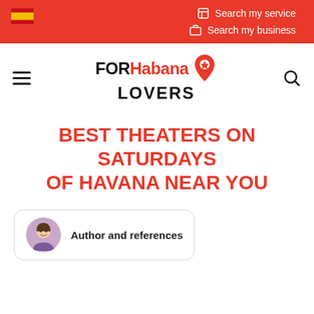Search my service | Search my business
[Figure (logo): FORHabana LOVERS logo with map pin icon]
BEST THEATERS ON SATURDAYS OF HAVANA NEAR YOU
Author and references